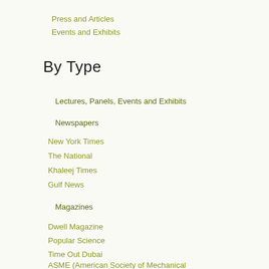Press and Articles
Events and Exhibits
By Type
Lectures, Panels, Events and Exhibits
Newspapers
New York Times
The National
Khaleej Times
Gulf News
Magazines
Dwell Magazine
Popular Science
Time Out Dubai
ASME (American Society of Mechanical Engineers)